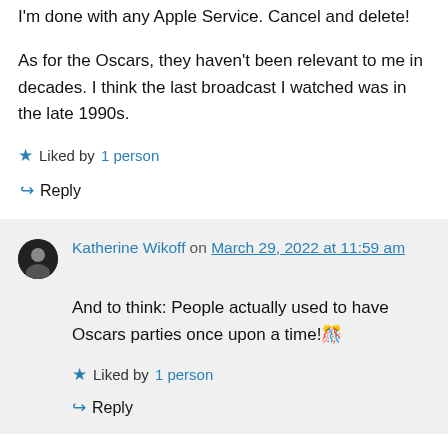I'm done with any Apple Service. Cancel and delete!
As for the Oscars, they haven't been relevant to me in decades. I think the last broadcast I watched was in the late 1990s.
★ Liked by 1 person
↪ Reply
Katherine Wikoff on March 29, 2022 at 11:59 am
And to think: People actually used to have Oscars parties once upon a time! 🎊
★ Liked by 1 person
↪ Reply